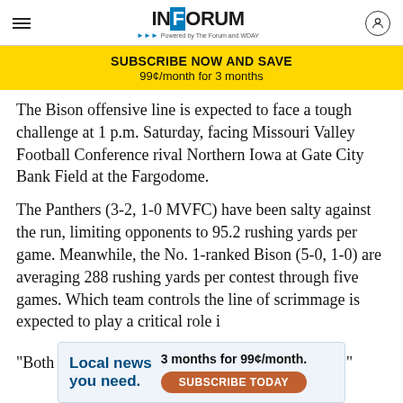INFORUM - Powered by The Forum and WDAY
SUBSCRIBE NOW AND SAVE
99¢/month for 3 months
The Bison offensive line is expected to face a tough challenge at 1 p.m. Saturday, facing Missouri Valley Football Conference rival Northern Iowa at Gate City Bank Field at the Fargodome.
The Panthers (3-2, 1-0 MVFC) have been salty against the run, limiting opponents to 95.2 rushing yards per game. Meanwhile, the No. 1-ranked Bison (5-0, 1-0) are averaging 288 rushing yards per contest through five games. Which team controls the line of scrimmage is expected to play a critical role i…
"Both teams rely heavily on the line of scrimmage."